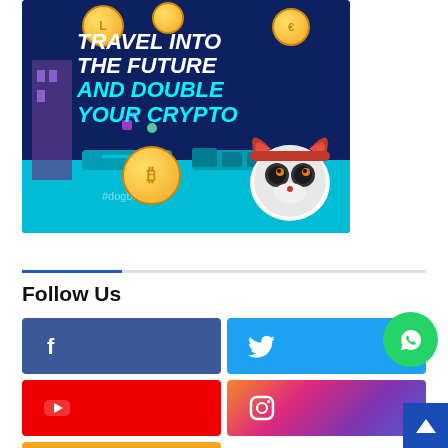[Figure (illustration): Crypto advertisement banner with dark blue/teal background, gold coins, cartoon character, text reading TRAVEL INTO THE FUTURE AND DOUBLE YOUR CRYPTO with #dogbonus watermark]
Follow Us
[Figure (infographic): Social media follow buttons: Facebook (dark blue), Twitter (light blue), YouTube (red), Instagram (gradient pink/purple), RSS (yellow/orange), plus WhatsApp floating button and scroll-to-top button]